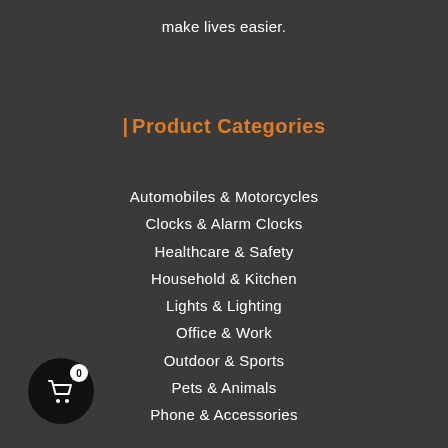make lives easier.
| Product Categories
Automobiles & Motorcycles
Clocks & Alarm Clocks
Healthcare & Safety
Household & Kitchen
Lights & Lighting
Office & Work
Outdoor & Sports
Pets & Animals
Phone & Accessories
[Figure (illustration): Shopping cart icon in a black circle with badge showing 0]